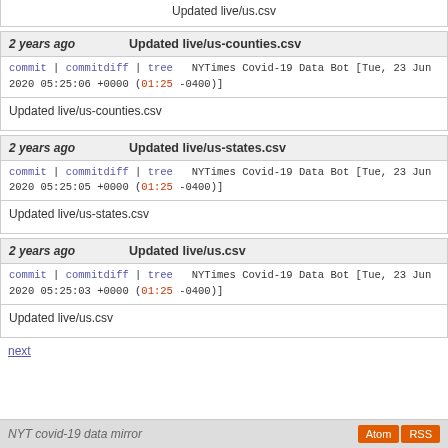Updated live/us.csv
2 years ago   Updated live/us-counties.csv
commit | commitdiff | tree   NYTimes Covid-19 Data Bot [Tue, 23 Jun 2020 05:25:06 +0000 (01:25 -0400)]
Updated live/us-counties.csv
2 years ago   Updated live/us-states.csv
commit | commitdiff | tree   NYTimes Covid-19 Data Bot [Tue, 23 Jun 2020 05:25:05 +0000 (01:25 -0400)]
Updated live/us-states.csv
2 years ago   Updated live/us.csv
commit | commitdiff | tree   NYTimes Covid-19 Data Bot [Tue, 23 Jun 2020 05:25:03 +0000 (01:25 -0400)]
Updated live/us.csv
next
NYT covid-19 data mirror   Atom   RSS